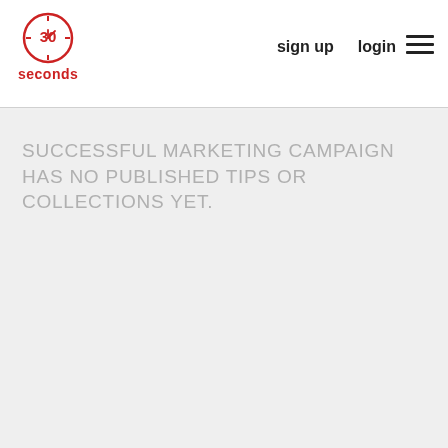[Figure (logo): 30 Seconds logo: red circle with clock showing '30' and the number 30, with 'seconds' text below in red]
sign up   login   ☰
SUCCESSFUL MARKETING CAMPAIGN HAS NO PUBLISHED TIPS OR COLLECTIONS YET.